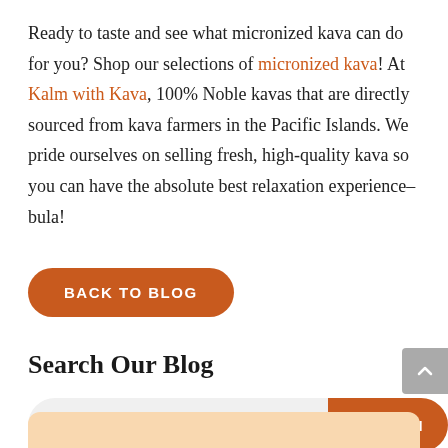Ready to taste and see what micronized kava can do for you? Shop our selections of micronized kava! At Kalm with Kava, 100% Noble kavas that are directly sourced from kava farmers in the Pacific Islands. We pride ourselves on selling fresh, high-quality kava so you can have the absolute best relaxation experience–bula!
BACK TO BLOG
Search Our Blog
Search Kalm with Kava
SEARCH